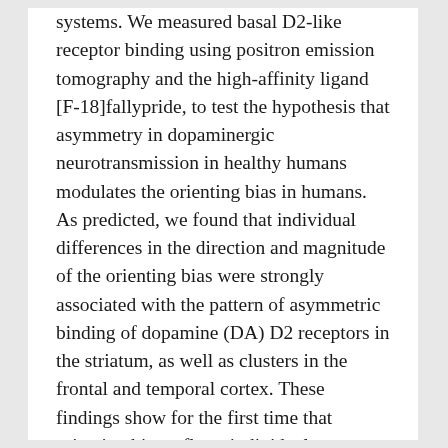systems. We measured basal D2-like receptor binding using positron emission tomography and the high-affinity ligand [F-18]fallypride, to test the hypothesis that asymmetry in dopaminergic neurotransmission in healthy humans modulates the orienting bias in humans. As predicted, we found that individual differences in the direction and magnitude of the orienting bias were strongly associated with the pattern of asymmetric binding of dopamine (DA) D2 receptors in the striatum, as well as clusters in the frontal and temporal cortex. These findings show for the first time that orienting bias reflects individual differences in the